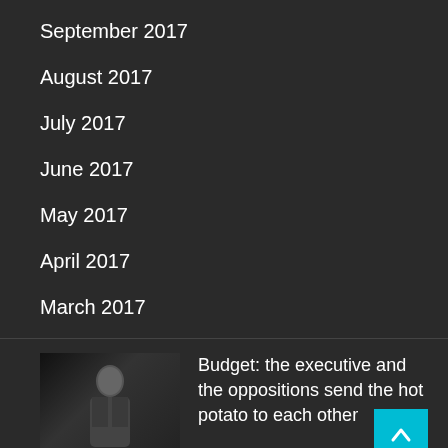September 2017
August 2017
July 2017
June 2017
May 2017
April 2017
March 2017
[Figure (photo): Portrait photo of a man in a dark suit]
Budget: the executive and the oppositions send the hot potato to each other
[Figure (photo): Photo of a crowd or group of people]
The executive wants to test the